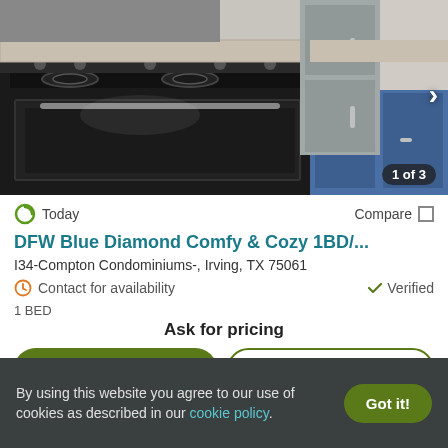[Figure (photo): Kitchen interior photo showing a black electric stove/range, granite countertops, blue lower cabinets, and stainless steel refrigerator. Image counter shows '1 of 3'.]
Today
Compare
DFW Blue Diamond Comfy & Cozy 1BD/...
I34-Compton Condominiums-, Irving, TX 75061
Contact for availability
Verified
1 BED
Ask for pricing
View Details
Contact Property
By using this website you agree to our use of cookies as described in our cookie policy.
Got it!